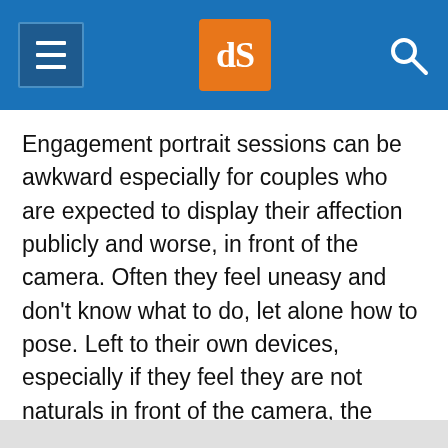[Figure (screenshot): Website header bar with hamburger menu icon on the left, dPS logo (orange square with white 'dS' letters) in the center, and a search (magnifying glass) icon on the right, all on a blue background.]
Engagement portrait sessions can be awkward especially for couples who are expected to display their affection publicly and worse, in front of the camera. Often they feel uneasy and don't know what to do, let alone how to pose. Left to their own devices, especially if they feel they are not naturals in front of the camera, the probability is that they won't love their photos at the end of the session. They will look back at the session with regret.